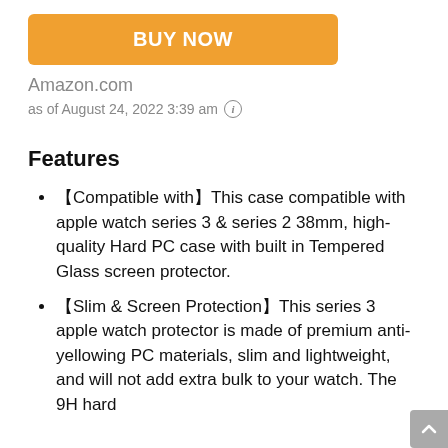[Figure (other): Orange BUY NOW button]
Amazon.com
as of August 24, 2022 3:39 am ⓘ
Features
【Compatible with】This case compatible with apple watch series 3 & series 2 38mm, high-quality Hard PC case with built in Tempered Glass screen protector.
【Slim & Screen Protection】This series 3 apple watch protector is made of premium anti-yellowing PC materials, slim and lightweight, and will not add extra bulk to your watch. The 9H hard